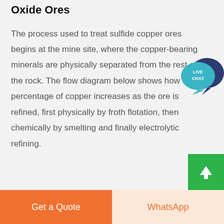Oxide Ores
The process used to treat sulfide copper ores begins at the mine site, where the copper-bearing minerals are physically separated from the rest of the rock. The flow diagram below shows how the percentage of copper increases as the ore is refined, first physically by froth flotation, then chemically by smelting and finally electrolytic refining.
[Figure (other): Live Chat speech bubble icon widget in teal/dark blue colors with text LIVE CHAT]
[Figure (other): Green scroll-to-top button with white upward arrow]
Get a Quote  |  WhatsApp